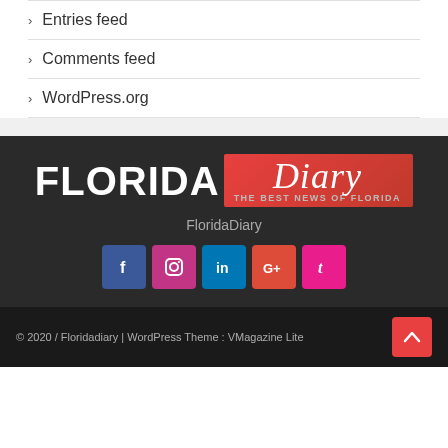Entries feed
Comments feed
WordPress.org
[Figure (logo): Florida Diary logo — 'FLORIDA' in bold white text next to a red gradient box with 'Diary' in white italic script, and 'THE BEST NEWS OF FLORIDA' tagline below]
FloridaDiary
[Figure (infographic): Social media icons: Facebook (blue), Instagram (pink), LinkedIn (blue), Google+ (orange-red), Tumblr (pink)]
© 2020 / Floridadiary | WordPress Theme : VMagazine Lite